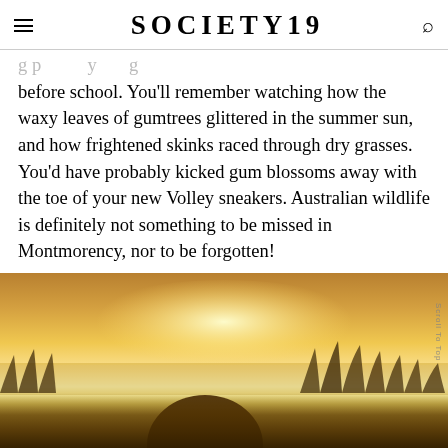SOCIETY19
before school. You'll remember watching how the waxy leaves of gumtrees glittered in the summer sun, and how frightened skinks raced through dry grasses. You'd have probably kicked gum blossoms away with the toe of your new Volley sneakers. Australian wildlife is definitely not something to be missed in Montmorency, nor to be forgotten!
[Figure (photo): A warm golden-sunset photograph of a person (seen from behind, hair visible) in a field of grasses against a glowing sky, with silhouetted vegetation in the background.]